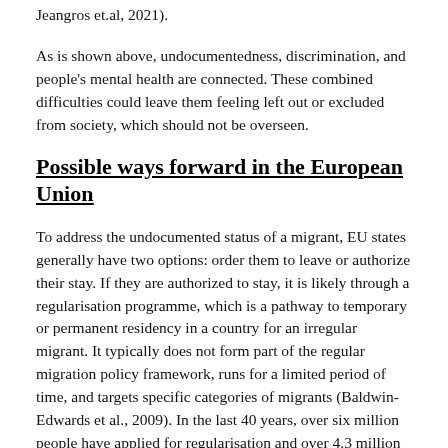Jeangros et.al, 2021).
As is shown above, undocumentedness, discrimination, and people's mental health are connected. These combined difficulties could leave them feeling left out or excluded from society, which should not be overseen.
Possible ways forward in the European Union
To address the undocumented status of a migrant, EU states generally have two options: order them to leave or authorize their stay. If they are authorized to stay, it is likely through a regularisation programme, which is a pathway to temporary or permanent residency in a country for an irregular migrant. It typically does not form part of the regular migration policy framework, runs for a limited period of time, and targets specific categories of migrants (Baldwin-Edwards et al., 2009). In the last 40 years, over six million people have applied for regularisation and over 4.3 million migrants in...